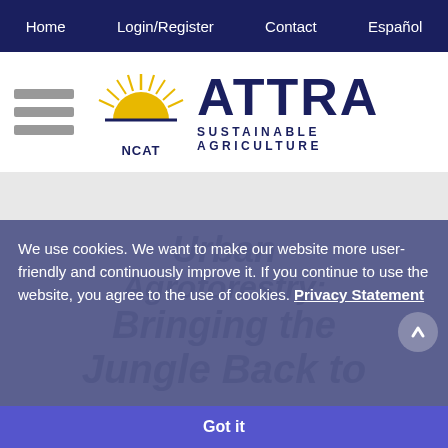Home  Login/Register  Contact  Español
[Figure (logo): NCAT ATTRA Sustainable Agriculture logo with sun icon and hamburger menu]
We use cookies. We want to make our website more user-friendly and continuously improve it. If you continue to use the website, you agree to the use of cookies. Privacy Statement
Urban Agroforestry: Bringing the Jungle Back to
Got it